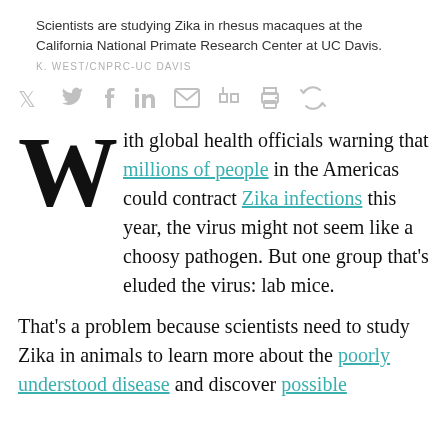Scientists are studying Zika in rhesus macaques at the California National Primate Research Center at UC Davis.
K. WEST/CNPRC-UC DAVIS
[Figure (other): Social media sharing icons: Twitter, Facebook, LinkedIn, Email, Digg, Print, Refresh/Share]
With global health officials warning that millions of people in the Americas could contract Zika infections this year, the virus might not seem like a choosy pathogen. But one group that’s eluded the virus: lab mice.
That’s a problem because scientists need to study Zika in animals to learn more about the poorly understood disease and discover possible